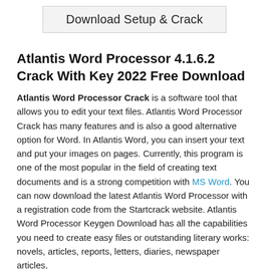[Figure (other): Button/banner element with text 'Download Setup & Crack' on a light gray background with border]
Atlantis Word Processor 4.1.6.2 Crack With Key 2022 Free Download
Atlantis Word Processor Crack is a software tool that allows you to edit your text files. Atlantis Word Processor Crack has many features and is also a good alternative option for Word. In Atlantis Word, you can insert your text and put your images on pages. Currently, this program is one of the most popular in the field of creating text documents and is a strong competition with MS Word. You can now download the latest Atlantis Word Processor with a registration code from the Startcrack website. Atlantis Word Processor Keygen Download has all the capabilities you need to create easy files or outstanding literary works: novels, articles, reports, letters, diaries, newspaper articles,